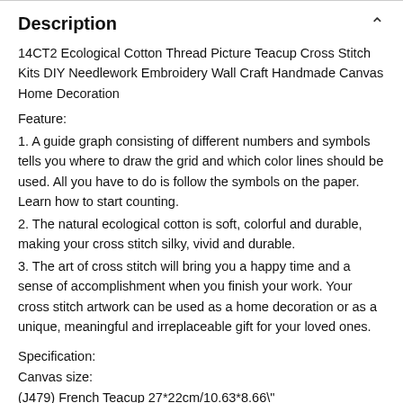Description
14CT2 Ecological Cotton Thread Picture Teacup Cross Stitch Kits DIY Needlework Embroidery Wall Craft Handmade Canvas Home Decoration
Feature:
1. A guide graph consisting of different numbers and symbols tells you where to draw the grid and which color lines should be used. All you have to do is follow the symbols on the paper. Learn how to start counting.
2. The natural ecological cotton is soft, colorful and durable, making your cross stitch silky, vivid and durable.
3. The art of cross stitch will bring you a happy time and a sense of accomplishment when you finish your work. Your cross stitch artwork can be used as a home decoration or as a unique, meaningful and irreplaceable gift for your loved ones.
Specification:
Canvas size:
(J479) French Teacup 27*22cm/10.63*8.66"
(J480) British Teacup 26*21cm/10.24*8.27"